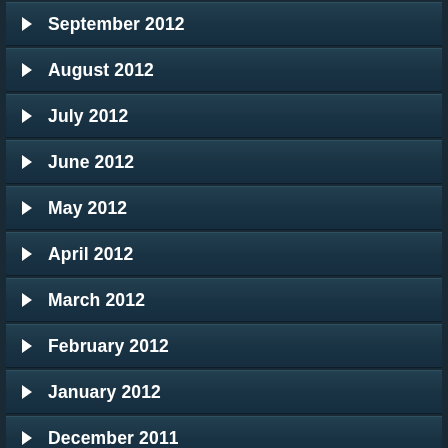September 2012
August 2012
July 2012
June 2012
May 2012
April 2012
March 2012
February 2012
January 2012
December 2011
November 2011